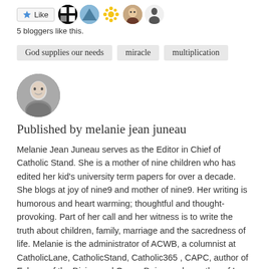[Figure (other): Like button and five blogger avatar icons]
5 bloggers like this.
God supplies our needs   miracle   multiplication
[Figure (photo): Circular black and white portrait photo of Melanie Jean Juneau]
Published by melanie jean juneau
Melanie Jean Juneau serves as the Editor in Chief of Catholic Stand. She is a mother of nine children who has edited her kid's university term papers for over a decade. She blogs at joy of nine9 and mother of nine9. Her writing is humorous and heart warming; thoughtful and thought-provoking. Part of her call and her witness is to write the truth about children, family, marriage and the sacredness of life. Melanie is the administrator of ACWB, a columnist at CatholicLane, CatholicStand, Catholic365 , CAPC, author of Echoes of the Divine and Oopsy Daisy, and coauthor of Love Rebel: Reclaiming Motherhood. View all posts by melanie